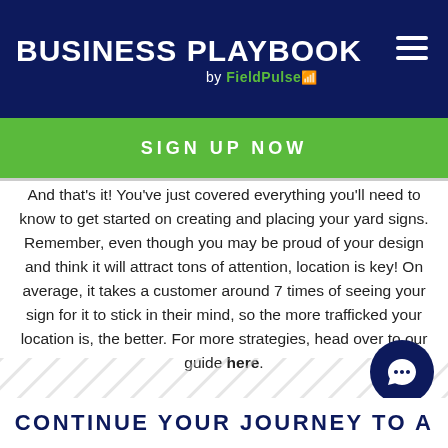BUSINESS PLAYBOOK by FieldPulse
SIGN UP NOW
And that’s it! You’ve just covered everything you’ll need to know to get started on creating and placing your yard signs. Remember, even though you may be proud of your design and think it will attract tons of attention, location is key! On average, it takes a customer around 7 times of seeing your sign for it to stick in their mind, so the more trafficked your location is, the better. For more strategies, head over to our guide here.
[Figure (illustration): Diagonal stripe pattern background]
CONTINUE YOUR JOURNEY TO A